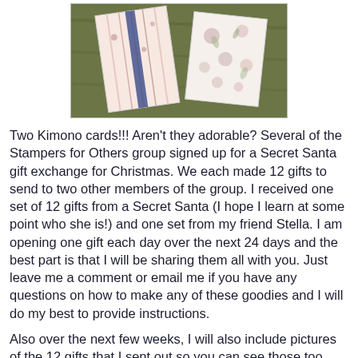[Figure (photo): Two Kimono cards standing up on a green surface, one with floral/striped pink pattern on the left and one with autumn floral pattern on the right.]
Two Kimono cards!!!  Aren't they adorable?  Several of the Stampers for Others group signed up for a Secret Santa gift exchange for Christmas.  We each made 12 gifts to send to two other members of the group.  I received one set of 12 gifts from a Secret Santa (I hope I learn at some point who she is!) and one set from my friend Stella.  I am opening one gift each day over the next 24 days and the best part is that I will be sharing them all with you.  Just leave me a comment or email me if you have any questions on how to make any of these goodies and I will do my best to provide instructions.
Also over the next few weeks, I will also include pictures of the 12 gifts that I sent out so you can see those too.
This is like the best Advent Calendar I have ever had.  As a child, I liked peeling back those little windows and getting a tiny piece of candy but this is so much better.  Check back here each day and you too can use these gifts as your